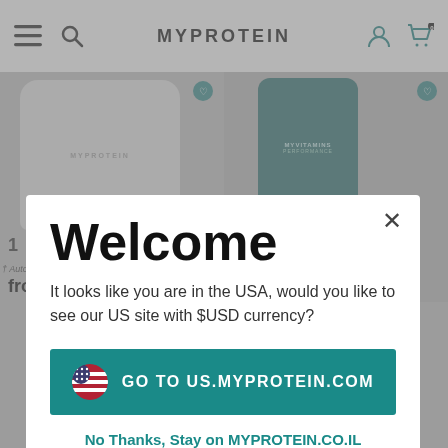MYPROTEIN
[Figure (screenshot): Product listing page background showing two product images (a white protein powder bag labeled MYPROTEIN and a teal MYVITAMINS bottle), with prices 'from 39.00 ₪' and '49.00 ₪' and text '† Automatically applies at basket']
Welcome
It looks like you are in the USA, would you like to see our US site with $USD currency?
Go to US.MYPROTEIN.COM
No Thanks, Stay on MYPROTEIN.CO.IL